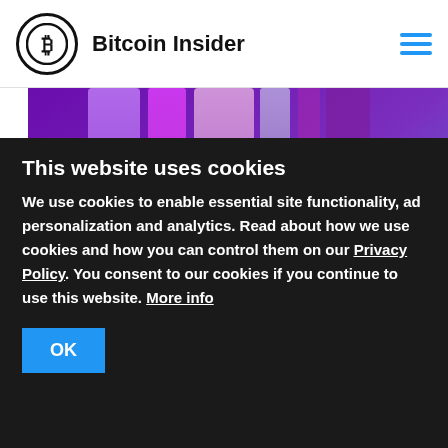Bitcoin Insider
[Figure (photo): WOW MetaVentures Bangkok event banner — purple and blue illuminated pillars with WOW M logo, text: MetaVentures Bangkok, INVESTMENTS, METAVERSE, NFT, DEFI, inite logo, WOW SUMMIT logo]
This website uses cookies
We use cookies to enable essential site functionality, ad personalization and analytics. Read about how we use cookies and how you can control them on our Privacy Policy. You consent to our cookies if you continue to use this website. More info